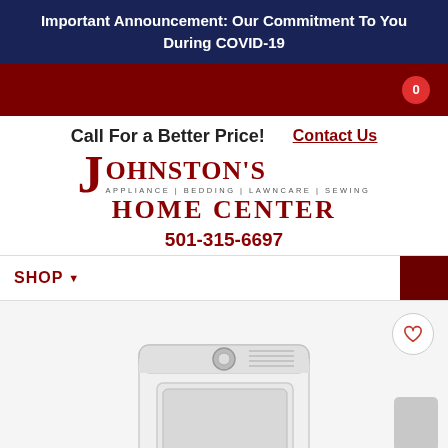Important Announcement: Our Commitment To You During COVID-19
[Figure (screenshot): Dark red navigation bar with cart badge showing 0]
Call For a Better Price!
Contact Us
[Figure (logo): Johnston's Home Center logo with J large letter, subtext APPLIANCE | BEDDING | LAWNCARE | SEWING, HOME CENTER in red serif font]
501-315-6697
SHOP
[Figure (photo): White top-load dryer appliance product photo with heart/wishlist icon and thumbnail image block]